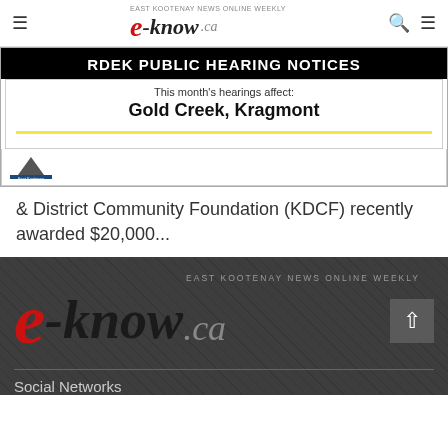e-know.ca — EAST KOOTENAY NEWS ONLINE WEEKLY
[Figure (infographic): RDEK Public Hearing Notices banner. Black header bar reading 'RDEK PUBLIC HEARING NOTICES'. White inner area with text: 'This month's hearings affect:' and 'Gold Creek, Kragmont'. Yellow horizontal line separator. East Kootenay regional district logo bottom left.]
& District Community Foundation (KDCF) recently awarded $20,000...
[Figure (logo): e-know.ca logo large format. Red italic 'e', dark italic '-know', grey italic '.ca'. Tagline above: 'EAST KOOTENAY NEWS ONLINE WEEKLY' in grey uppercase letters.]
Social Networks